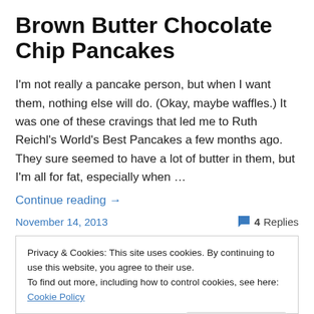Brown Butter Chocolate Chip Pancakes
I'm not really a pancake person, but when I want them, nothing else will do. (Okay, maybe waffles.) It was one of these cravings that led me to Ruth Reichl's World's Best Pancakes a few months ago. They sure seemed to have a lot of butter in them, but I'm all for fat, especially when …
Continue reading →
November 14, 2013   4 Replies
Privacy & Cookies: This site uses cookies. By continuing to use this website, you agree to their use. To find out more, including how to control cookies, see here: Cookie Policy
Close and accept
I still remember that day. Five years ago, a friend and I